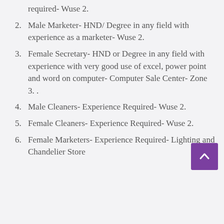required- Wuse 2.
2. Male Marketer- HND/ Degree in any field with experience as a marketer- Wuse 2.
3. Female Secretary- HND or Degree in any field with experience with very good use of excel, power point and word on computer- Computer Sale Center- Zone 3. .
4. Male Cleaners- Experience Required- Wuse 2.
5. Female Cleaners- Experience Required- Wuse 2.
6. Female Marketers- Experience Required- Lighting and Chandelier Store